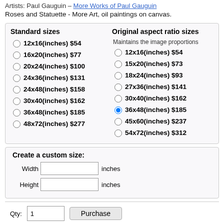Artists: Paul Gauguin – More Works of Paul Gauguin
Roses and Statuette - More Art, oil paintings on canvas.
Standard sizes: 12x16(inches) $54, 16x20(inches) $77, 20x24(inches) $100, 24x36(inches) $131, 24x48(inches) $158, 30x40(inches) $162, 36x48(inches) $185, 48x72(inches) $277
Original aspect ratio sizes (Maintains the image proportions): 12x16(inches) $54, 15x20(inches) $73, 18x24(inches) $93, 27x36(inches) $141, 30x40(inches) $162, 36x48(inches) $185 (selected), 45x60(inches) $237, 54x72(inches) $312
Create a custom size:
Width [input] inches
Height [input] inches
Qty: 1   [Purchase button]